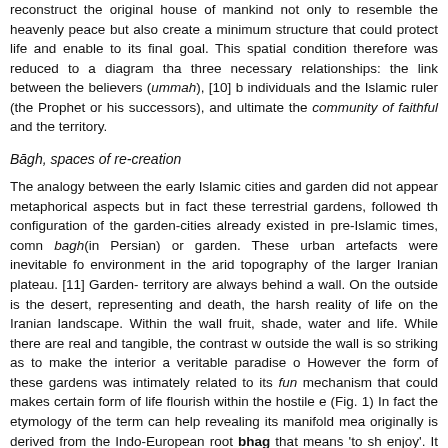reconstruct the original house of mankind not only to resemble the heavenly peace but also create a minimum structure that could protect life and enable to its final goal. This spatial condition therefore was reduced to a diagram that three necessary relationships: the link between the believers (ummah), [10] b individuals and the Islamic ruler (the Prophet or his successors), and ultimate the community of faithful and the territory.
Bāgh, spaces of re-creation
The analogy between the early Islamic cities and garden did not appear metaphorical aspects but in fact these terrestrial gardens, followed th configuration of the garden-cities already existed in pre-Islamic times, comn bagh(in Persian) or garden. These urban artefacts were inevitable fo environment in the arid topography of the larger Iranian plateau. [11] Garden- territory are always behind a wall. On the outside is the desert, representing and death, the harsh reality of life on the Iranian landscape. Within the wall fruit, shade, water and life. While there are real and tangible, the contrast w outside the wall is so striking as to make the interior a veritable paradise o However the form of these gardens was intimately related to its fun mechanism that could makes certain form of life flourish within the hostile e (Fig. 1) In fact the etymology of the term can help revealing its manifold mea originally is derived from the Indo-European root bhag that means 'to sh enjoy'. It comes in the Old Persian and Avestan as baga that means 'distribu fortune'. In its Modern Persian usage, the term appears in two forms of bag sound) as 'God', and bāgh (long –a- sound) as 'Garden'. Interestingly while